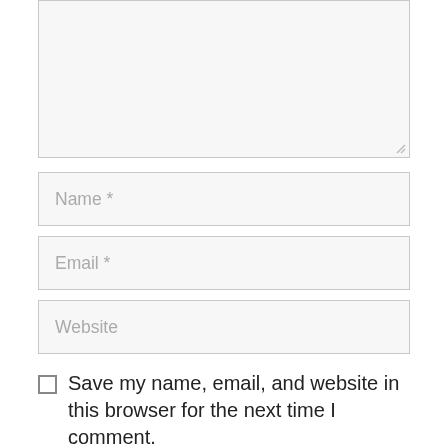[Figure (screenshot): A textarea input box (comment field) with a light gray background and border, showing a resize handle at bottom-right corner.]
[Figure (screenshot): A text input field with placeholder text 'Name *']
[Figure (screenshot): A text input field with placeholder text 'Email *']
[Figure (screenshot): A text input field with placeholder text 'Website']
Save my name, email, and website in this browser for the next time I comment.